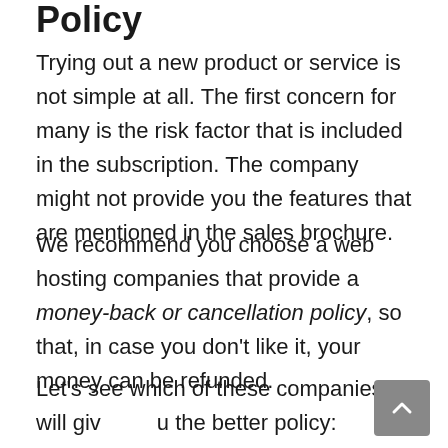Policy
Trying out a new product or service is not simple at all. The first concern for many is the risk factor that is included in the subscription. The company might not provide you the features that are mentioned in the sales brochure.
We recommend you choose a web hosting companies that provide a money-back or cancellation policy, so that, in case you don't like it, your money can be refunded.
Let's see which of these companies will give you the better policy: